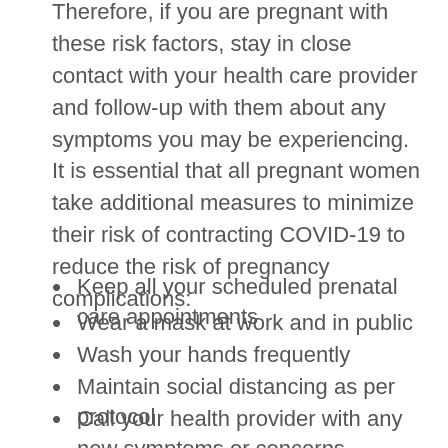Therefore, if you are pregnant with these risk factors, stay in close contact with your health care provider and follow-up with them about any symptoms you may be experiencing. It is essential that all pregnant women take additional measures to minimize their risk of contracting COVID-19 to reduce the risk of pregnancy complications:
Keep all your scheduled prenatal care appointments
Wear a mask at work and in public
Wash your hands frequently
Maintain social distancing as per protocol
Call your health provider with any new symptoms or concerns
Further steps that you can take to boost your immune